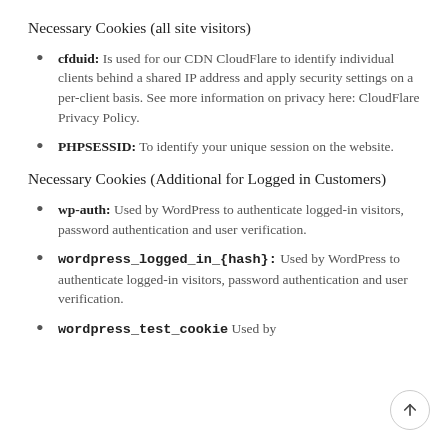Necessary Cookies (all site visitors)
cfduid: Is used for our CDN CloudFlare to identify individual clients behind a shared IP address and apply security settings on a per-client basis. See more information on privacy here: CloudFlare Privacy Policy.
PHPSESSID: To identify your unique session on the website.
Necessary Cookies (Additional for Logged in Customers)
wp-auth: Used by WordPress to authenticate logged-in visitors, password authentication and user verification.
wordpress_logged_in_{hash}: Used by WordPress to authenticate logged-in visitors, password authentication and user verification.
wordpress_test_cookie Used by